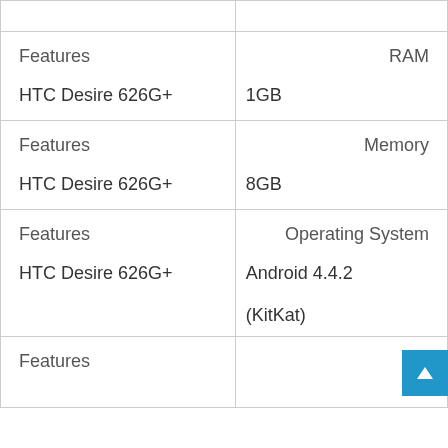| Features | RAM / Memory / Operating System |
| --- | --- |
| Features | RAM |
| HTC Desire 626G+ | 1GB |
| Features | Memory |
| HTC Desire 626G+ | 8GB |
| Features | Operating System |
| HTC Desire 626G+ | Android 4.4.2 (KitKat) |
| Features |  |